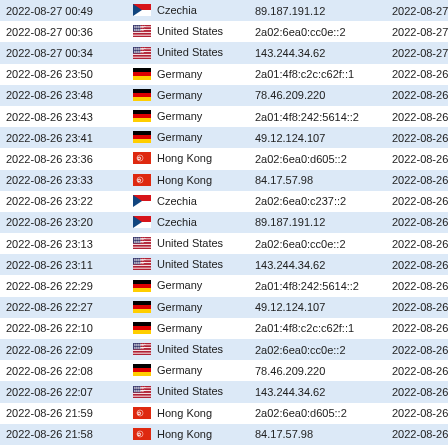| Date/Time | Country | IP Address | Date/Time |
| --- | --- | --- | --- |
| 2022-08-27 00:49 | Czechia | 89.187.191.12 | 2022-08-27 00:49 |
| 2022-08-27 00:36 | United States | 2a02:6ea0:cc0e::2 | 2022-08-27 00:34 |
| 2022-08-27 00:34 | United States | 143.244.34.62 | 2022-08-27 00:34 |
| 2022-08-26 23:50 | Germany | 2a01:4f8:c2c:c62f::1 | 2022-08-26 23:49 |
| 2022-08-26 23:48 | Germany | 78.46.209.220 | 2022-08-26 23:34 |
| 2022-08-26 23:43 | Germany | 2a01:4f8:242:5614::2 | 2022-08-26 23:34 |
| 2022-08-26 23:41 | Germany | 49.12.124.107 | 2022-08-26 23:34 |
| 2022-08-26 23:36 | Hong Kong | 2a02:6ea0:d605::2 | 2022-08-26 23:34 |
| 2022-08-26 23:33 | Hong Kong | 84.17.57.98 | 2022-08-26 23:19 |
| 2022-08-26 23:22 | Czechia | 2a02:6ea0:c237::2 | 2022-08-26 23:19 |
| 2022-08-26 23:20 | Czechia | 89.187.191.12 | 2022-08-26 23:19 |
| 2022-08-26 23:13 | United States | 2a02:6ea0:cc0e::2 | 2022-08-26 23:04 |
| 2022-08-26 23:11 | United States | 143.244.34.62 | 2022-08-26 23:04 |
| 2022-08-26 22:29 | Germany | 2a01:4f8:242:5614::2 | 2022-08-26 22:18 |
| 2022-08-26 22:27 | Germany | 49.12.124.107 | 2022-08-26 22:18 |
| 2022-08-26 22:10 | Germany | 2a01:4f8:c2c:c62f::1 | 2022-08-26 22:03 |
| 2022-08-26 22:09 | United States | 2a02:6ea0:cc0e::2 | 2022-08-26 22:03 |
| 2022-08-26 22:08 | Germany | 78.46.209.220 | 2022-08-26 22:03 |
| 2022-08-26 22:07 | United States | 143.244.34.62 | 2022-08-26 22:03 |
| 2022-08-26 21:59 | Hong Kong | 2a02:6ea0:d605::2 | 2022-08-26 21:48 |
| 2022-08-26 21:58 | Hong Kong | 84.17.57.98 | 2022-08-26 21:48 |